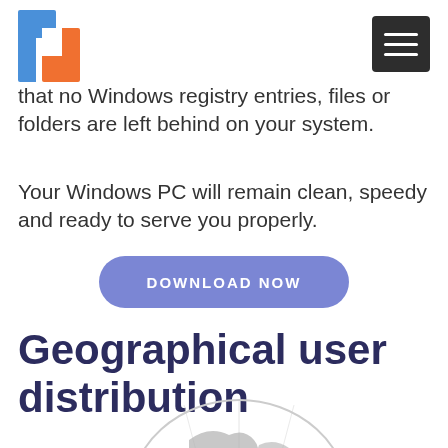that no Windows registry entries, files or folders are left behind on your system.
Your Windows PC will remain clean, speedy and ready to serve you properly.
[Figure (other): Download Now button - rounded rectangular blue/purple button with white uppercase text 'DOWNLOAD NOW']
Geographical user distribution
[Figure (illustration): Partial globe illustration in grey tones at the bottom of the page]